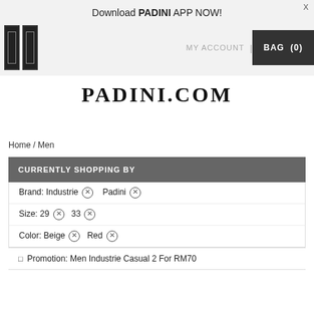Download PADINI APP NOW!
MY ACCOUNT | BAG (0)
[Figure (logo): PADINI.COM website logo in large serif bold font]
Home / Men
CURRENTLY SHOPPING BY
Brand: Industrie ⊗   Padini ⊗
Size: 29 ⊗   33 ⊗
Color: Beige ⊗   Red ⊗
Promotion: Men Industrie Casual 2 For RM70